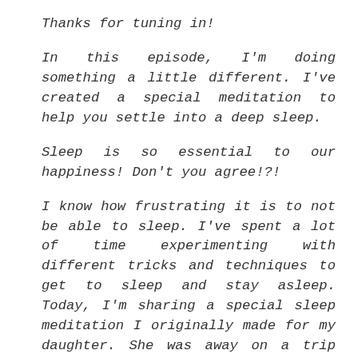Thanks for tuning in!
In this episode, I'm doing something a little different. I've created a special meditation to help you settle into a deep sleep.
Sleep is so essential to our happiness! Don't you agree!?!
I know how frustrating it is to not be able to sleep. I've spent a lot of time experimenting with different tricks and techniques to get to sleep and stay asleep. Today, I'm sharing a special sleep meditation I originally made for my daughter. She was away on a trip and I wanted her to have a comforting